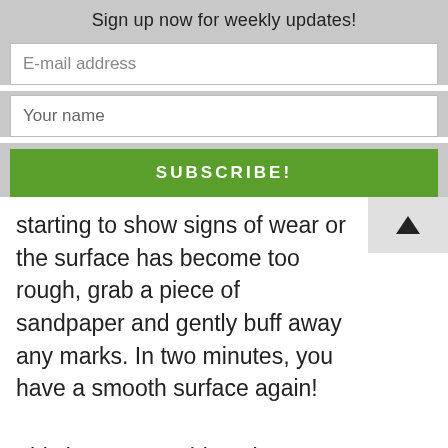Sign up now for weekly updates!
E-mail address
Your name
SUBSCRIBE!
starting to show signs of wear or the surface has become too rough, grab a piece of sandpaper and gently buff away any marks. In two minutes, you have a smooth surface again!
This is not something I have seen outside of a restaurant supply store, but I have found ones similar to mine online here